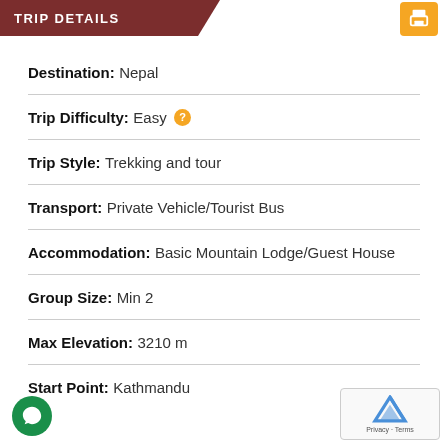TRIP DETAILS
Destination: Nepal
Trip Difficulty: Easy
Trip Style: Trekking and tour
Transport: Private Vehicle/Tourist Bus
Accommodation: Basic Mountain Lodge/Guest House
Group Size: Min 2
Max Elevation: 3210 m
Start Point: Kathmandu